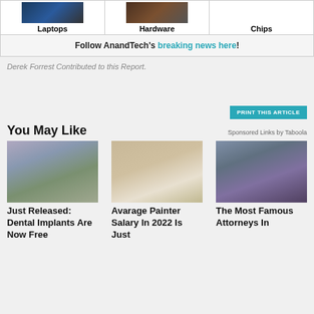| Laptops | Hardware | Chips |
| --- | --- | --- |
Follow AnandTech's breaking news here!
Derek Forrest Contributed to this Report.
PRINT THIS ARTICLE
You May Like
Sponsored Links by Taboola
[Figure (photo): Woman in blue-grey dress standing outdoors near trees]
Just Released: Dental Implants Are Now Free
[Figure (photo): Man painting a wall, seen from behind]
Avarage Painter Salary In 2022 Is Just
[Figure (photo): Man in suit with red tie in front of bookshelves]
The Most Famous Attorneys In